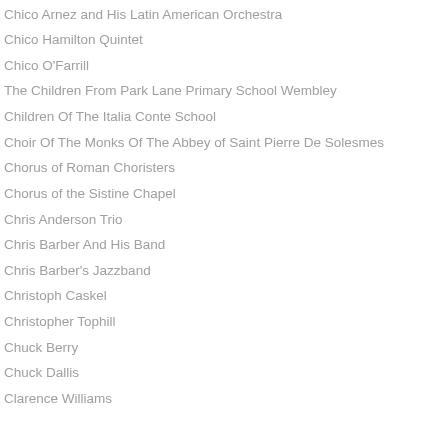Chico Arnez and His Latin American Orchestra
Chico Hamilton Quintet
Chico O'Farrill
The Children From Park Lane Primary School Wembley
Children Of The Italia Conte School
Choir Of The Monks Of The Abbey of Saint Pierre De Solesmes
Chorus of Roman Choristers
Chorus of the Sistine Chapel
Chris Anderson Trio
Chris Barber And His Band
Chris Barber's Jazzband
Christoph Caskel
Christopher Tophill
Chuck Berry
Chuck Dallis
Clarence Williams